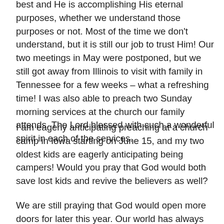best and He is accomplishing His eternal purposes, whether we understand those purposes or not. Most of the time we don't understand, but it is still our job to trust Him! Our two meetings in May were postponed, but we still got away from Illinois to visit with family in Tennessee for a few weeks – what a refreshing time! I was also able to preach two Sunday morning services at the church our family attends. The Lord blessed with such a wonderful spirit in each of the services.
I am eagerly anticipating preaching at a church camp in Iowa starting on June 15, and my two oldest kids are eagerly anticipating being campers! Would you pray that God would both save lost kids and revive the believers as well?
We are still praying that God would open more doors for later this year. Our world has always needed Jesus, but it just seems more evident right now with all the